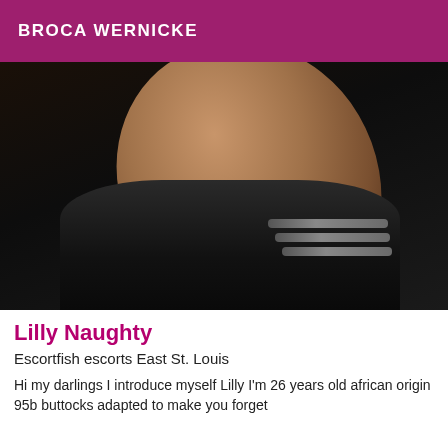BROCA WERNICKE
[Figure (photo): A dark photograph showing a person's leg/knee area with dark stockings and visible stocking bands against a dark background floor.]
Lilly Naughty
Escortfish escorts East St. Louis
Hi my darlings I introduce myself Lilly I'm 26 years old african origin 95b buttocks adapted to make you forget